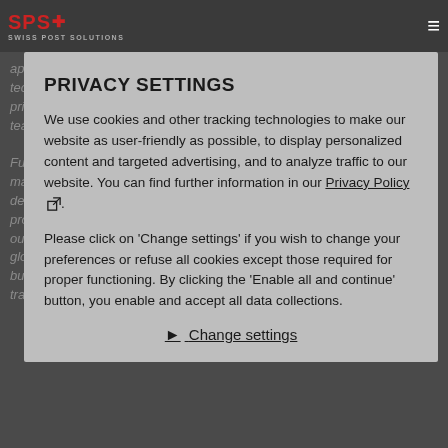[Figure (logo): SPS Swiss Post Solutions logo in red with hamburger menu icon on dark background header]
appropriate solution approaches (processes, people, location, technologies) and develop target-operating models with first indicative pricing. Hence, our Consultants are closely aligned with the controlling team to gather input data for building cost models. Furthermore, the Global Solution Design team is skilled with knowledge of market trends(e.g. Artificial Intelligence or Robotics/and opportunities to develop client programs focused on digital transformation of business processes. Supplier with relevant notions as they identify possible risks in our service models and in the contracts. They are positioned to define a global solution and deliver material to be integrated on top of that, our are business experts, executing due diligence in proposal, contracting or transition phases in close cooperation with subject matter experts.
PRIVACY SETTINGS
We use cookies and other tracking technologies to make our website as user-friendly as possible, to display personalized content and targeted advertising, and to analyze traffic to our website. You can find further information in our Privacy Policy.
Please click on 'Change settings' if you wish to change your preferences or refuse all cookies except those required for proper functioning. By clicking the 'Enable all and continue' button, you enable and accept all data collections.
Change settings